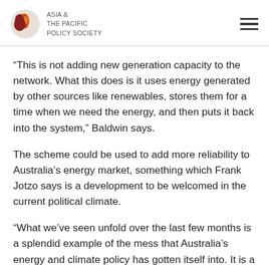ASIA & THE PACIFIC POLICY SOCIETY
“This is not adding new generation capacity to the network. What this does is it uses energy generated by other sources like renewables, stores them for a time when we need the energy, and then puts it back into the system,” Baldwin says.
The scheme could be used to add more reliability to Australia’s energy market, something which Frank Jotzo says is a development to be welcomed in the current political climate.
“What we’ve seen unfold over the last few months is a splendid example of the mess that Australia’s energy and climate policy has gotten itself into. It is a highly politicised debate, there’s been policy flip-flops over